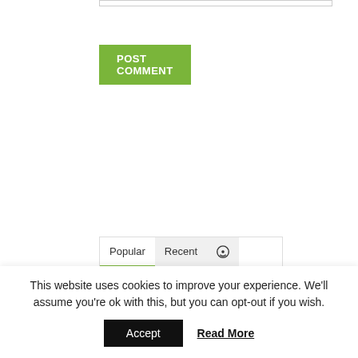[Figure (screenshot): Input/text field bar at top of page]
POST COMMENT
[Figure (screenshot): Widget panel with Popular, Recent, and comment icon tabs. Shows a thumbnail image of a wind turbine on a house, article title '400W Small Wind Turbine [Giveaway]', and date 'May 3rd.']
This website uses cookies to improve your experience. We'll assume you're ok with this, but you can opt-out if you wish.
Accept
Read More